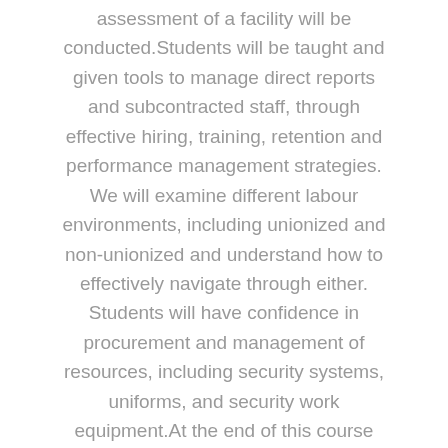assessment of a facility will be conducted.Students will be taught and given tools to manage direct reports and subcontracted staff, through effective hiring, training, retention and performance management strategies. We will examine different labour environments, including unionized and non-unionized and understand how to effectively navigate through either. Students will have confidence in procurement and management of resources, including security systems, uniforms, and security work equipment.At the end of this course students will have the skills needed to effectively provide security to work sites, and successfully manage the business of